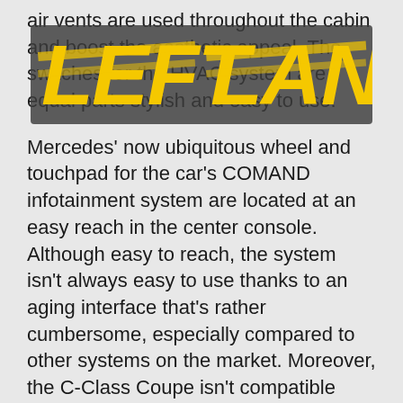air vents are used throughout the cabin and boost the aesthetic appeal. The switches for the HVAC system are equal parts stylish and easy to use.
[Figure (logo): Left Lane logo in bold yellow italic letters on a semi-transparent dark background overlay]
Mercedes' now ubiquitous wheel and touchpad for the car's COMAND infotainment system are located at an easy reach in the center console. Although easy to reach, the system isn't always easy to use thanks to an aging interface that's rather cumbersome, especially compared to other systems on the market. Moreover, the C-Class Coupe isn't compatible with Android Auto or Apple CarPlay, so you're stuck with what Mercedes gives you, which is not